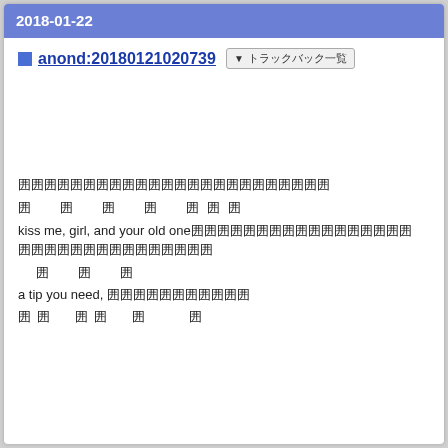2018-01-22
anond:20180121020739 ▼ トラックバック一覧
囲囲囲囲囲囲囲囲囲囲囲囲囲囲囲囲囲囲囲囲囲囲囲囲
囲　囲　囲　囲　囲囲囲
kiss me, girl, and your old one囲囲囲囲囲囲囲囲囲囲囲囲囲囲囲囲囲囲囲囲囲囲囲囲囲囲囲
囲　囲　囲
a tip you need, 囲囲囲囲囲囲囲囲囲囲囲
囲囲　囲囲　囲　　囲